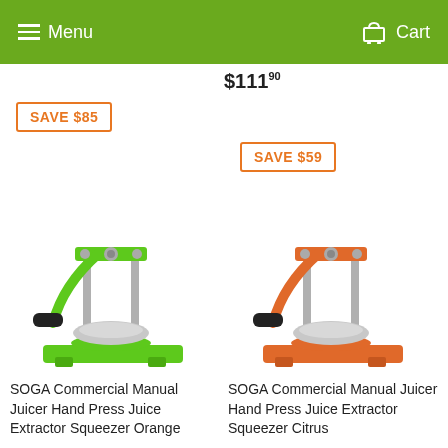Menu | Cart
$111.90
SAVE $85
SAVE $59
[Figure (photo): Green SOGA Commercial Manual Juicer Hand Press Juice Extractor Squeezer]
[Figure (photo): Orange SOGA Commercial Manual Juicer Hand Press Juice Extractor Squeezer Citrus]
SOGA Commercial Manual Juicer Hand Press Juice Extractor Squeezer Orange
SOGA Commercial Manual Juicer Hand Press Juice Extractor Squeezer Citrus